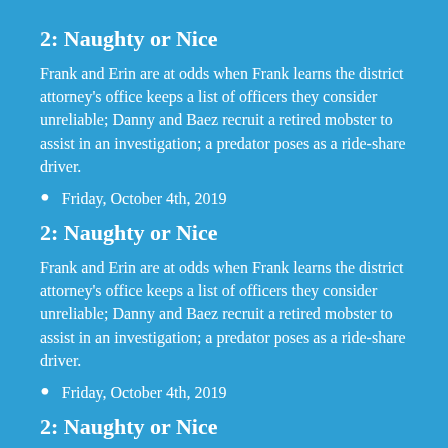2: Naughty or Nice
Frank and Erin are at odds when Frank learns the district attorney's office keeps a list of officers they consider unreliable; Danny and Baez recruit a retired mobster to assist in an investigation; a predator poses as a ride-share driver.
Friday, October 4th, 2019
2: Naughty or Nice
Frank and Erin are at odds when Frank learns the district attorney's office keeps a list of officers they consider unreliable; Danny and Baez recruit a retired mobster to assist in an investigation; a predator poses as a ride-share driver.
Friday, October 4th, 2019
2: Naughty or Nice
Frank and Erin are at odds when Frank learns the